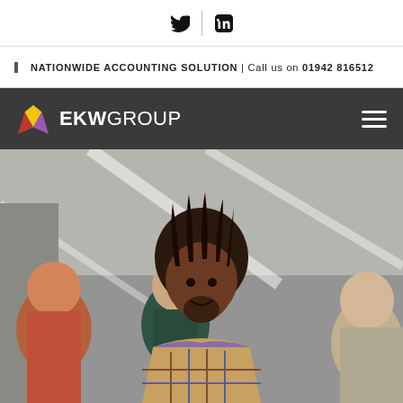Social icons: Twitter, LinkedIn
NATIONWIDE ACCOUNTING SOLUTION | Call us on 01942 816512
[Figure (logo): EKW Group logo with colourful crown icon on dark navigation bar]
[Figure (photo): Group of smiling professionals in a modern office setting, man with dreadlocks in foreground]